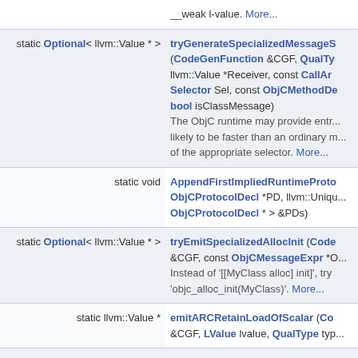| Return type | Function signature and description |
| --- | --- |
|  | __weak l-value. More... |
| static Optional< llvm::Value * > | tryGenerateSpecializedMessageS... (CodeGenFunction &CGF, QualTy... llvm::Value *Receiver, const CallAr... Selector Sel, const ObjCMethodDe... bool isClassMessage)
The ObjC runtime may provide entr... likely to be faster than an ordinary m... of the appropriate selector. More... |
| static void | AppendFirstImpliedRuntimeProto... ObjCProtocolDecl *PD, llvm::Uniqu... ObjCProtocolDecl * > &PDs) |
| static Optional< llvm::Value * > | tryEmitSpecializedAllocInit (Code... &CGF, const ObjCMessageExpr *O... Instead of '[[MyClass alloc] init]', try 'objc_alloc_init(MyClass)'. More... |
| static llvm::Value * | emitARCRetainLoadOfScalar (Co... &CGF, LValue lvalue, QualType typ... |
| static void | emitStructGetterCall (CodeGenFu... |